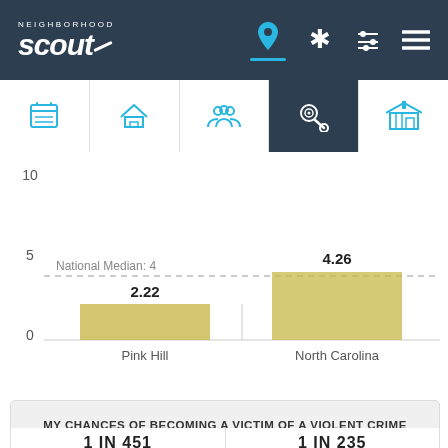NeighborhoodScout
[Figure (bar-chart): Violent Crime Rate Comparison]
MY CHANCES OF BECOMING A VICTIM OF A VIOLENT CRIME
1 IN 451	1 IN 235